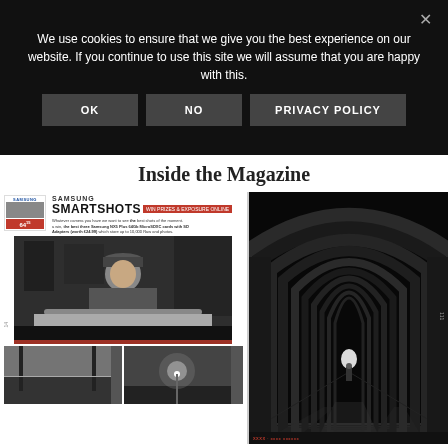We use cookies to ensure that we give you the best experience on our website. If you continue to use this site we will assume that you are happy with this.
OK | NO | PRIVACY POLICY
Inside the Magazine
[Figure (photo): Magazine spread showing Samsung Smartshots feature on left page with black and white portrait photo of man in flat cap at a counter, plus two smaller photos below; right page shows dark black and white tunnel/corridor photo with person silhouetted at end]